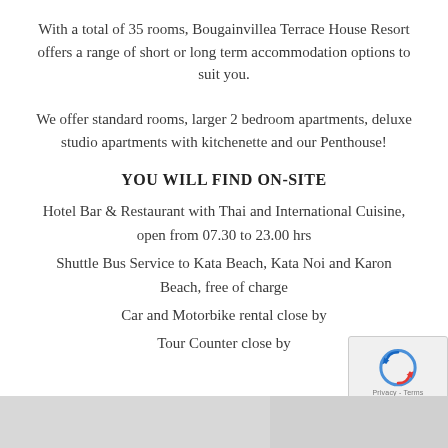With a total of 35 rooms, Bougainvillea Terrace House Resort offers a range of short or long term accommodation options to suit you.
We offer standard rooms, larger 2 bedroom apartments, deluxe studio apartments with kitchenette and our Penthouse!
YOU WILL FIND ON-SITE
Hotel Bar & Restaurant with Thai and International Cuisine, open from 07.30 to 23.00 hrs
Shuttle Bus Service to Kata Beach, Kata Noi and Karon Beach, free of charge
Car and Motorbike rental close by
Tour Counter close by